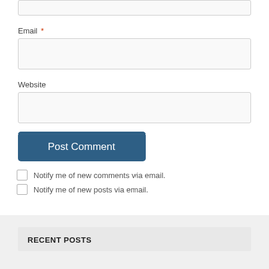Email *
Website
Post Comment
Notify me of new comments via email.
Notify me of new posts via email.
RECENT POSTS